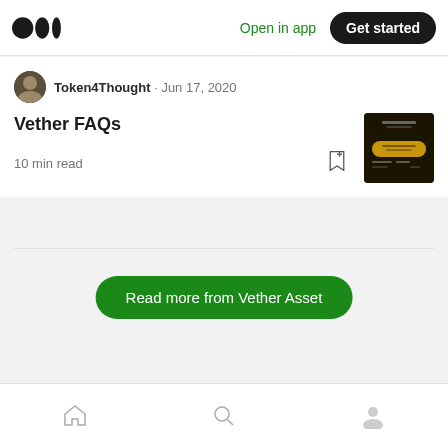Medium — Open in app   Get started
Token4Thought · Jun 17, 2020
Vether FAQs
10 min read
[Figure (screenshot): Thumbnail image of Vether app interface with dark/gold color scheme]
Read more from Vether Asset
Home  Search  Profile navigation icons